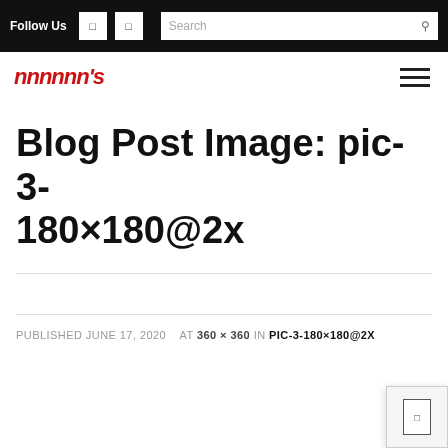Follow Us  Search
[Figure (logo): Italic red stylized logo text resembling 'huuurd's' or similar brand name in bold red italic font]
Blog Post Image: pic-3-180×180@2x
PUBLISHED JUNE 17, 2020   AT 360 × 360 IN PIC-3-180×180@2X